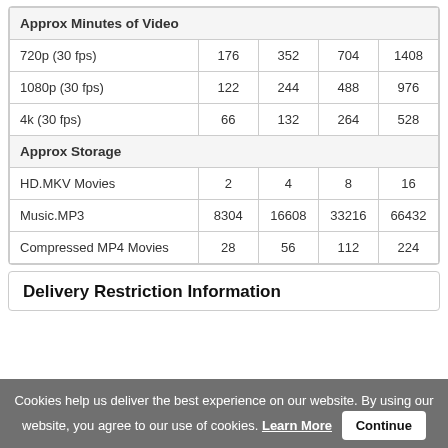|  |  |  |  |  |
| --- | --- | --- | --- | --- |
| Approx Minutes of Video |  |  |  |  |
| 720p (30 fps) | 176 | 352 | 704 | 1408 |
| 1080p (30 fps) | 122 | 244 | 488 | 976 |
| 4k (30 fps) | 66 | 132 | 264 | 528 |
| Approx Storage |  |  |  |  |
| HD.MKV Movies | 2 | 4 | 8 | 16 |
| Music.MP3 | 8304 | 16608 | 33216 | 66432 |
| Compressed MP4 Movies | 28 | 56 | 112 | 224 |
Delivery Restriction Information
Cookies help us deliver the best experience on our website. By using our website, you agree to our use of cookies. Learn More  Continue